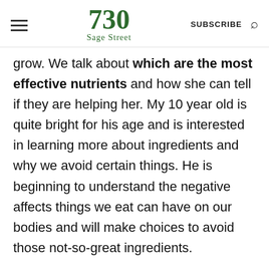730 Sage Street | SUBSCRIBE
grow. We talk about which are the most effective nutrients and how she can tell if they are helping her. My 10 year old is quite bright for his age and is interested in learning more about ingredients and why we avoid certain things. He is beginning to understand the negative affects things we eat can have on our bodies and will make choices to avoid those not-so-great ingredients.